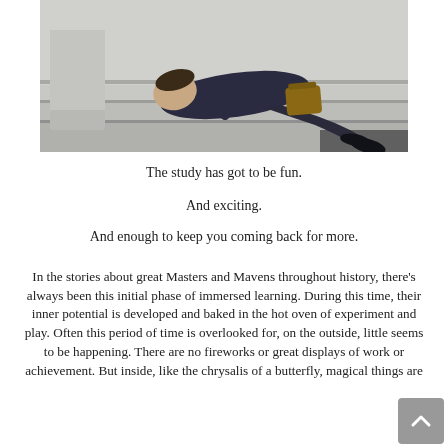[Figure (photo): A man in a dark suit lying curled up asleep on stone steps outside a building, with a bag nearby.]
The study has got to be fun.
And exciting.
And enough to keep you coming back for more.
In the stories about great Masters and Mavens throughout history, there's always been this initial phase of immersed learning. During this time, their inner potential is developed and baked in the hot oven of experiment and play. Often this period of time is overlooked for, on the outside, little seems to be happening. There are no fireworks or great displays of work or achievement. But inside, like the chrysalis of a butterfly, magical things are